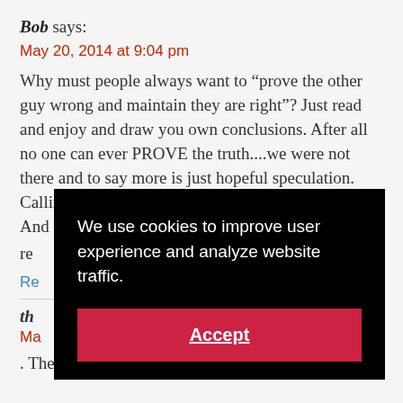Bob says:
May 20, 2014 at 9:04 pm
Why must people always want to “prove the other guy wrong and maintain they are right”? Just read and enjoy and draw you own conclusions. After all no one can ever PROVE the truth....we were not there and to say more is just hopeful speculation. Calling people names or clowns is disrespectful .... And un... re...
Re...
th...
Ma...
. They are allotted to students to create them
We use cookies to improve user experience and analyze website traffic. Accept